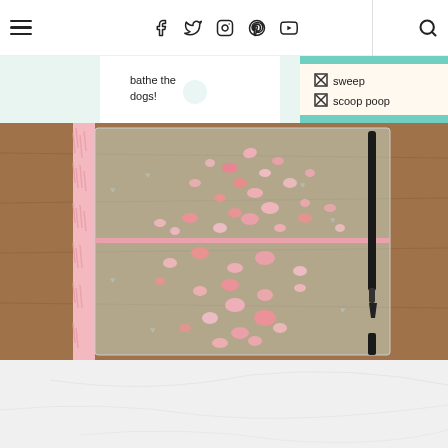Navigation bar with hamburger menu, social icons (Facebook, Twitter, Instagram, Pinterest, YouTube), and search icon
[Figure (photo): A planner spread showing a to-do list with handwritten items including 'bathe the dogs!', 'sweep', and 'scoop poop' with checkboxes]
[Figure (photo): A clear/transparent planner cover with pink sequins scattered across it, a fuzzy pink spine, and a black pen resting alongside it on a wooden surface]
[Figure (photo): Bottom portion of a white/light marble surface, partially visible]